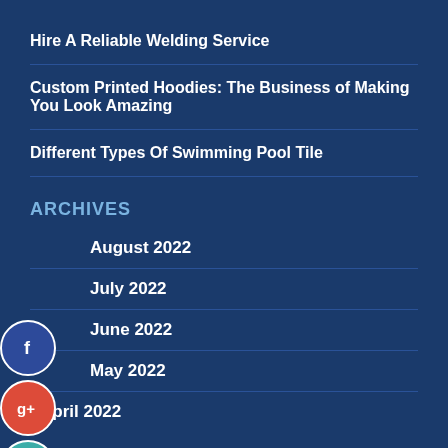Hire A Reliable Welding Service
Custom Printed Hoodies: The Business of Making You Look Amazing
Different Types Of Swimming Pool Tile
ARCHIVES
August 2022
July 2022
June 2022
May 2022
April 2022